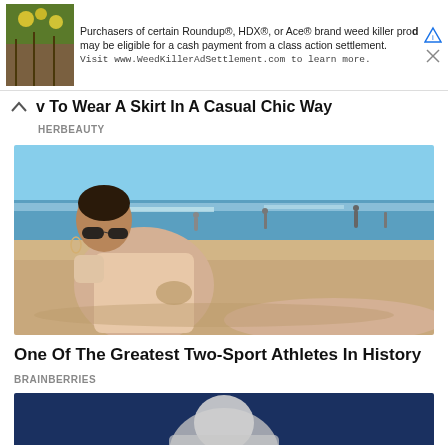[Figure (screenshot): Advertisement banner: 'Purchasers of certain Roundup®, HDX®, or Ace® brand weed killer products may be eligible for a cash payment from a class action settlement. Visit www.WeedKillerAdSettlement.com to learn more.']
How To Wear A Skirt In A Casual Chic Way
HERBEAUTY
[Figure (photo): Woman in a beige bodysuit and sunglasses sitting on a beach with ocean in background]
One Of The Greatest Two-Sport Athletes In History
BRAINBERRIES
[Figure (photo): Partial view of another article's thumbnail image, showing a person against a dark blue background]